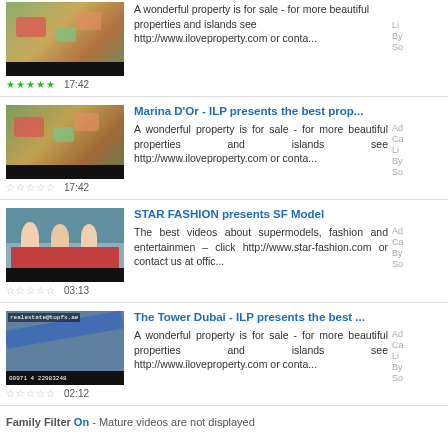[Figure (screenshot): Video thumbnail - aerial property view with colored patches, 5 green stars rating, duration 17:42]
A wonderful property is for sale - for more beautiful properties and islands see http://www.iloveproperty.com or conta...
[Figure (screenshot): Video thumbnail - aerial property view with colored patches, empty stars rating, duration 17:42]
Marina D'Or - ILP presents the best prop...
A wonderful property is for sale - for more beautiful properties and islands see http://www.iloveproperty.com or conta...
[Figure (screenshot): Video thumbnail - people sitting at a table in a restaurant/event setting, empty stars rating, duration 03:13]
STAR FASHION presents SF Model
The best videos about supermodels, fashion and entertainmen – click http://www.star-fashion.com or contact us at offic...
[Figure (screenshot): Video thumbnail - aerial city map with river and coordinates text, empty stars rating, duration 02:12]
The Tower Dubai - ILP presents the best ...
A wonderful property is for sale - for more beautiful properties and islands see http://www.iloveproperty.com or conta...
Family Filter On - Mature videos are not displayed